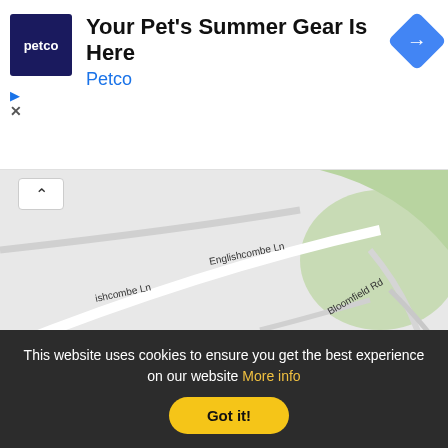[Figure (screenshot): Petco advertisement banner with logo, headline 'Your Pet's Summer Gear Is Here', brand name 'Petco', and a blue navigation diamond icon]
[Figure (map): Google Maps screenshot showing streets including Englishcombe Ln, Bloomfield Rd, A367, Entry H, Springfield Park, and Ivybank House Care Home]
ECONOMIC ACTIVITIES
47789
This website uses cookies to ensure you get the best experience on our website More info Got it!